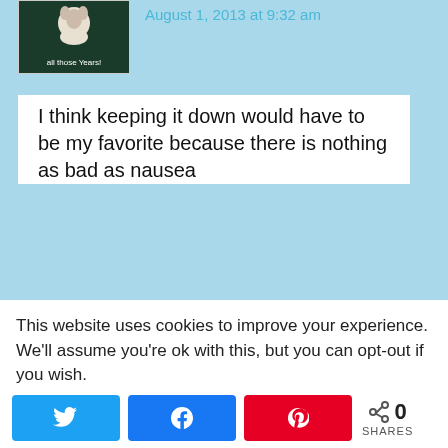[Figure (photo): User avatar image with text 'all those Years!' on a dark background]
August 1, 2013 at 9:32 am
I think keeping it down would have to be my favorite because there is nothing as bad as nausea
Reply
This website uses cookies to improve your experience. We'll assume you're ok with this, but you can opt-out if you wish.
0 SHARES